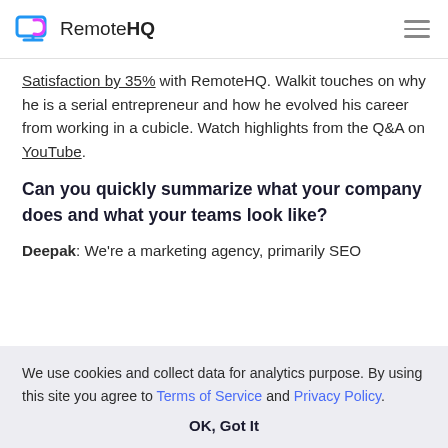RemoteHQ
Satisfaction by 35% with RemoteHQ. Walkit touches on why he is a serial entrepreneur and how he evolved his career from working in a cubicle. Watch highlights from the Q&A on YouTube.
Can you quickly summarize what your company does and what your teams look like?
Deepak: We're a marketing agency, primarily SEO
We use cookies and collect data for analytics purpose. By using this site you agree to Terms of Service and Privacy Policy.
OK, Got It